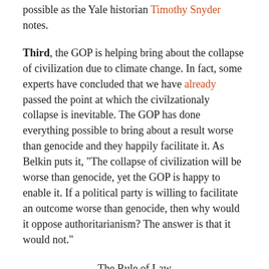possible as the Yale historian Timothy Snyder notes.
Third, the GOP is helping bring about the collapse of civilization due to climate change. In fact, some experts have concluded that we have already passed the point at which the civilzationaly collapse is inevitable. The GOP has done everything possible to bring about a result worse than genocide and they happily facilitate it. As Belkin puts it, “The collapse of civilization will be worse than genocide, yet the GOP is happy to enable it. If a political party is willing to facilitate an outcome worse than genocide, then why would it oppose authoritarianism? The answer is that it would not.”
The Rule of Law
While Trump and the GOP are obvious threats to the rule of law they are ultimately symptoms, not causes of the problem. (Aristotle long ago taught me the importance of